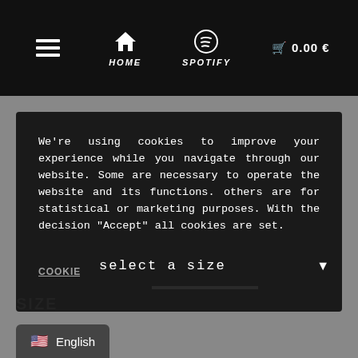HOME  SPOTIFY  ☰  🛒 0.00 €
We're using cookies to improve your experience while you navigate through our website. Some are necessary to operate the website and its functions. others are for statistical or marketing purposes. With the decision "Accept" all cookies are set.
COOKIE SETTINGS   ACCEPT
select a size
SIZE
🇺🇸 English